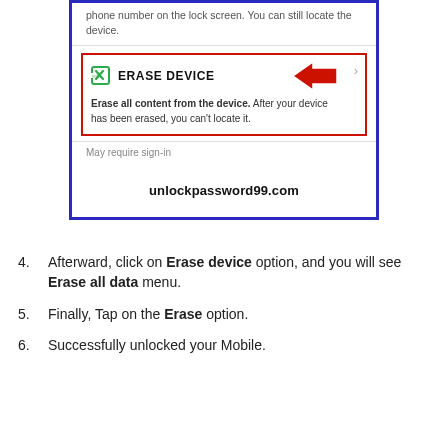[Figure (screenshot): Screenshot of Android device management screen showing 'Erase Device' option highlighted with a red border and a red arrow pointing to it. Below is the text 'Erase all content from the device. After your device has been erased, you can't locate it.' and 'May require sign-in'. Watermark: unlockpassword99.com]
4. Afterward, click on Erase device option, and you will see Erase all data menu.
5. Finally, Tap on the Erase option.
6. Successfully unlocked your Mobile.